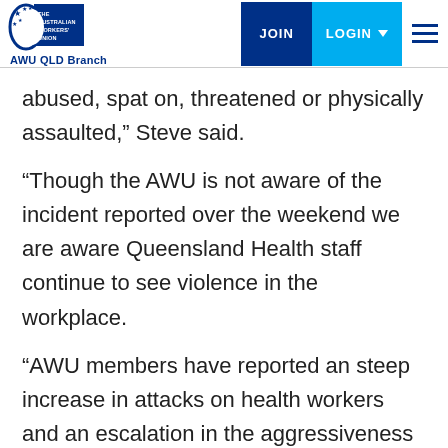AWU QLD Branch – The Australian Workers' Union
abused, spat on, threatened or physically assaulted,” Steve said.
“Though the AWU is not aware of the incident reported over the weekend we are aware Queensland Health staff continue to see violence in the workplace.
“AWU members have reported an steep increase in attacks on health workers and an escalation in the aggressiveness of the assaults